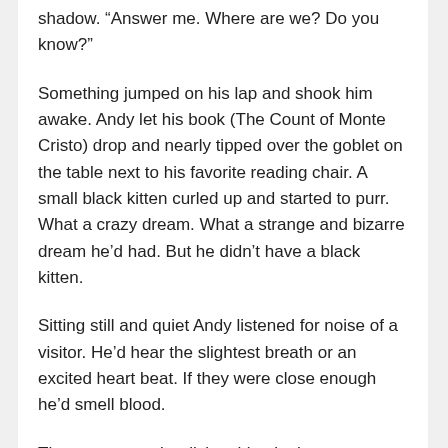shadow. “Answer me. Where are we? Do you know?”
Something jumped on his lap and shook him awake. Andy let his book (The Count of Monte Cristo) drop and nearly tipped over the goblet on the table next to his favorite reading chair. A small black kitten curled up and started to purr. What a crazy dream. What a strange and bizarre dream he’d had. But he didn’t have a black kitten.
Sitting still and quiet Andy listened for noise of a visitor. He’d hear the slightest breath or an excited heart beat. If they were close enough he’d smell blood.
There was no other living thing in the room